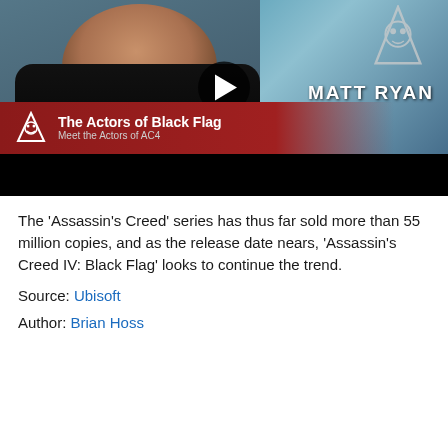[Figure (screenshot): YouTube-style video thumbnail showing an actor in a motion capture suit with green and yellow stripes. Text overlay shows 'MATT RYAN' in white letters on right side. A dark red banner at the bottom reads 'The Actors of Black Flag / Meet the Actors of AC4' with the Assassin's Creed logo. A play button is visible in the center.]
The 'Assassin's Creed' series has thus far sold more than 55 million copies, and as the release date nears, 'Assassin's Creed IV: Black Flag' looks to continue the trend.
Source: Ubisoft
Author: Brian Hoss